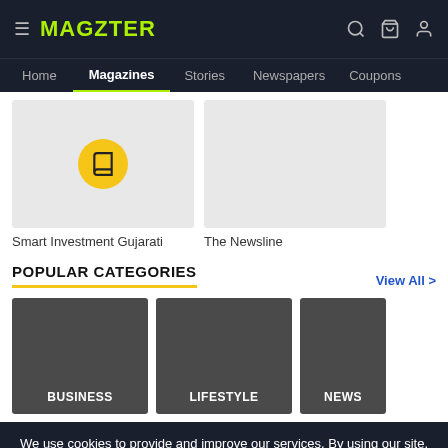MAGZTER
Home | Magazines | Stories | Newspapers | Coupons
[Figure (screenshot): Magazine thumbnail with yellow book icon circle for Smart Investment Gujarati]
Smart Investment Gujarati
[Figure (screenshot): Empty grey magazine thumbnail for The Newsline]
The Newsline
POPULAR CATEGORIES
View All >
[Figure (screenshot): Three category tiles: BUSINESS, LIFESTYLE, NEWS (partially visible)]
We use cookies to provide and improve our services. By using our site, you consent to cookies. Learn More
Agree